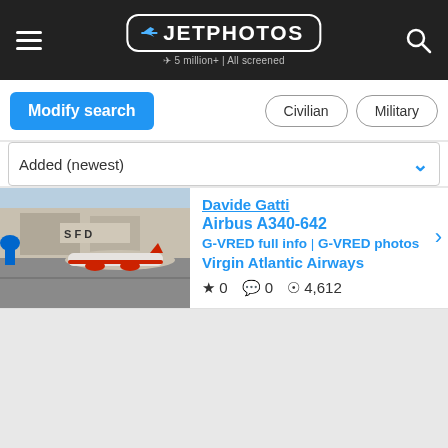JETPHOTOS — 5 million+ | All screened
Modify search | Civilian | Military
Added (newest)
[Figure (photo): Virgin Atlantic Airbus A340-642 registration G-VRED on airport taxiway with SFO terminal signage in background]
Davide Gatti
Airbus A340-642
G-VRED full info | G-VRED photos
Virgin Atlantic Airways
★ 0  💬 0  👁 4,612